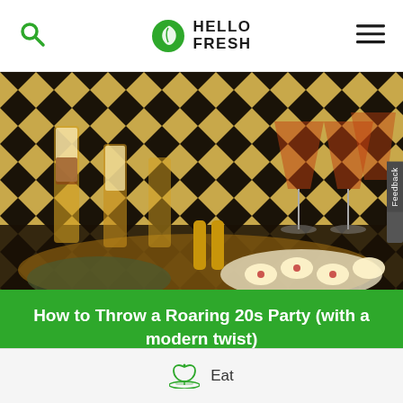HelloFresh
[Figure (photo): Party food spread with layered dessert parfaits, cocktails in martini glasses, deviled eggs with pomegranate seeds, and appetizers on a table with a gold zigzag patterned backdrop]
How to Throw a Roaring 20s Party (with a modern twist)
Eat